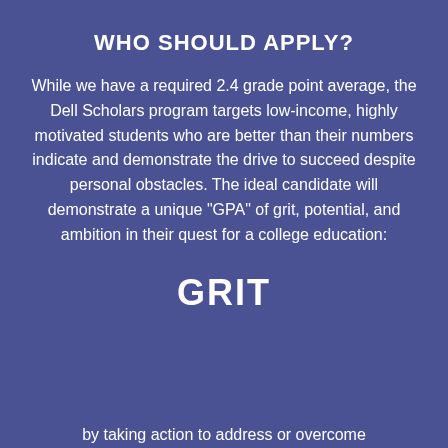WHO SHOULD APPLY?
While we have a required 2.4 grade point average, the Dell Scholars program targets low-income, highly motivated students who are better than their numbers indicate and demonstrate the drive to succeed despite personal obstacles. The ideal candidate will demonstrate a unique "GPA" of grit, potential, and ambition in their quest for a college education:
GRIT
by taking action to address or overcome